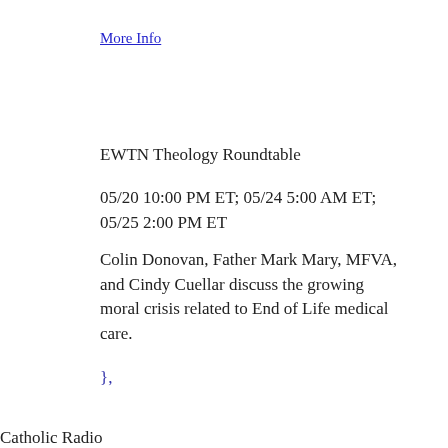More Info
EWTN Theology Roundtable
05/20 10:00 PM ET; 05/24 5:00 AM ET; 05/25 2:00 PM ET
Colin Donovan, Father Mark Mary, MFVA, and Cindy Cuellar discuss the growing moral crisis related to End of Life medical care.
},
Catholic Radio